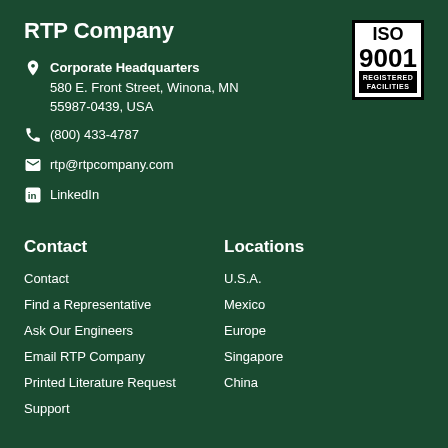RTP Company
Corporate Headquarters
580 E. Front Street, Winona, MN
55987-0439, USA
(800) 433-4787
rtp@rtpcompany.com
LinkedIn
[Figure (logo): ISO 9001 Registered Facilities badge]
Contact
Locations
Contact
Find a Representative
Ask Our Engineers
Email RTP Company
Printed Literature Request
Support
U.S.A.
Mexico
Europe
Singapore
China